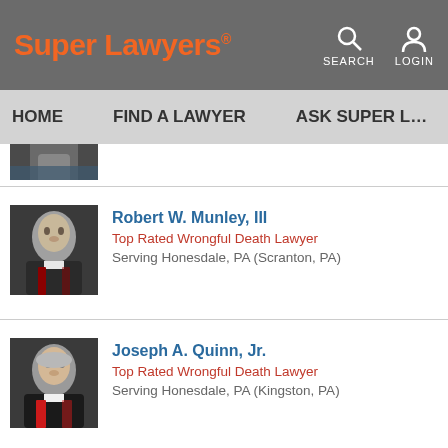Super Lawyers — SEARCH LOGIN
HOME   FIND A LAWYER   ASK SUPER L…
[Figure (photo): Partial photo of a lawyer at the top, cut off]
[Figure (photo): Headshot of Robert W. Munley III in suit]
Robert W. Munley, III
Top Rated Wrongful Death Lawyer
Serving Honesdale, PA (Scranton, PA)
[Figure (photo): Headshot of Joseph A. Quinn Jr. in suit]
Joseph A. Quinn, Jr.
Top Rated Wrongful Death Lawyer
Serving Honesdale, PA (Kingston, PA)
[Figure (photo): Partial headshot of Peter J. Biscontini at bottom, cut off]
Peter J. Biscontini